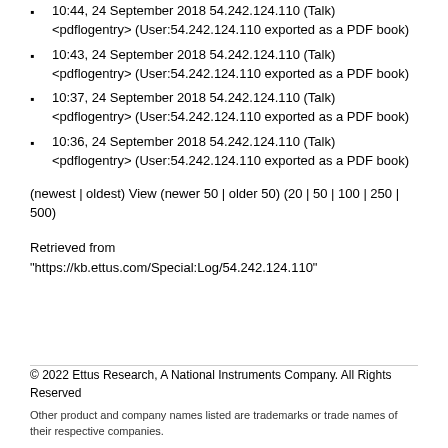10:44, 24 September 2018 54.242.124.110 (Talk) <pdflogentry> (User:54.242.124.110 exported as a PDF book)
10:43, 24 September 2018 54.242.124.110 (Talk) <pdflogentry> (User:54.242.124.110 exported as a PDF book)
10:37, 24 September 2018 54.242.124.110 (Talk) <pdflogentry> (User:54.242.124.110 exported as a PDF book)
10:36, 24 September 2018 54.242.124.110 (Talk) <pdflogentry> (User:54.242.124.110 exported as a PDF book)
(newest | oldest) View (newer 50 | older 50) (20 | 50 | 100 | 250 | 500)
Retrieved from "https://kb.ettus.com/Special:Log/54.242.124.110"
© 2022 Ettus Research, A National Instruments Company. All Rights Reserved
Other product and company names listed are trademarks or trade names of their respective companies.